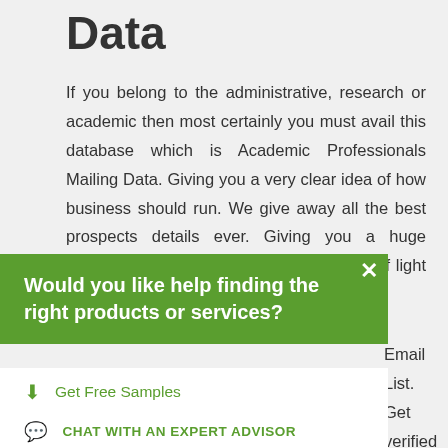Data
If you belong to the administrative, research or academic then most certainly you must avail this database which is Academic Professionals Mailing Data. Giving you a very clear idea of how business should run. We give away all the best prospects details ever. Giving you a huge advantage for business. Let there be lots of light in your Email List. Get verified through essionals list will available in the n really make a all the relevant business to the ge advantage in
Would you like help finding the right products or services?
Get Free Samples
CHAT WITH AN EXPERT ADVISOR
+1 888-538-5188